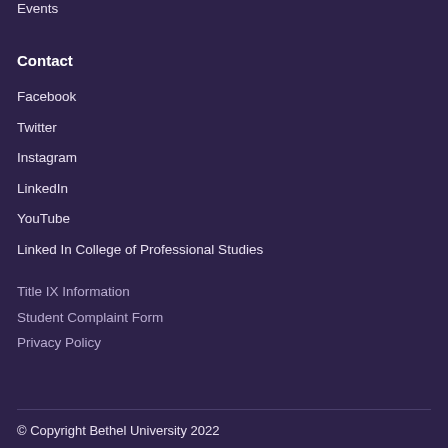Events
Contact
Facebook
Twitter
Instagram
LinkedIn
YouTube
Linked In College of Professional Studies
Title IX Information
Student Complaint Form
Privacy Policy
© Copyright Bethel University 2022